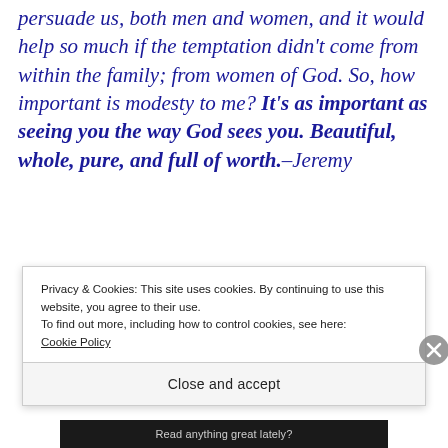persuade us, both men and women, and it would help so much if the temptation didn't come from within the family; from women of God. So, how important is modesty to me? It's as important as seeing you the way God sees you. Beautiful, whole, pure, and full of worth.–Jeremy
Privacy & Cookies: This site uses cookies. By continuing to use this website, you agree to their use.
To find out more, including how to control cookies, see here:
Cookie Policy
Close and accept
Read anything great lately?